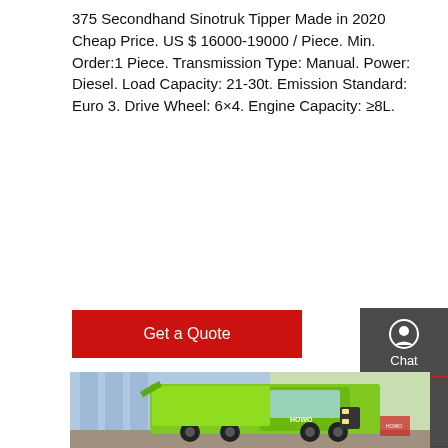375 Secondhand Sinotruk Tipper Made in 2020 Cheap Price. US $ 16000-19000 / Piece. Min. Order:1 Piece. Transmission Type: Manual. Power: Diesel. Load Capacity: 21-30t. Emission Standard: Euro 3. Drive Wheel: 6×4. Engine Capacity: ≥8L.
[Figure (other): Red 'Get a Quote' button]
[Figure (other): Dark grey sidebar with Chat, Email, Contact, Top icons]
[Figure (photo): Photo of a bright green Sinotruk HOWO tipper truck parked outside a building]